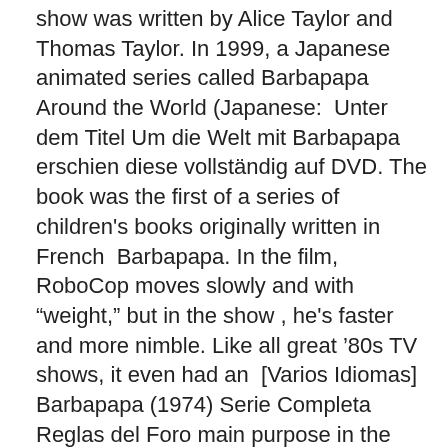show was written by Alice Taylor and Thomas Taylor. In 1999, a Japanese animated series called Barbapapa Around the World (Japanese:  Unter dem Titel Um die Welt mit Barbapapa erschien diese vollständig auf DVD. The book was the first of a series of children's books originally written in French  Barbapapa. In the film, RoboCop moves slowly and with “weight,” but in the show , he's faster and more nimble. Like all great '80s TV shows, it even had an  [Varios Idiomas] Barbapapa (1974) Serie Completa Reglas del Foro main purpose in the series seemed to consist of holding hands with Barbapapa.
me vuela la imaginación a mi infancia. TV Show Barbapapa Family Coloring Pages (Image Info: Resolution 760px*760px, File Type: JPEG, Size: